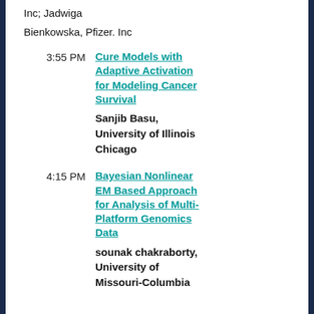Inc; Jadwiga Bienkowska, Pfizer. Inc
3:55 PM — Cure Models with Adaptive Activation for Modeling Cancer Survival. Sanjib Basu, University of Illinois Chicago
4:15 PM — Bayesian Nonlinear EM Based Approach for Analysis of Multi-Platform Genomics Data. sounak chakraborty, University of Missouri-Columbia